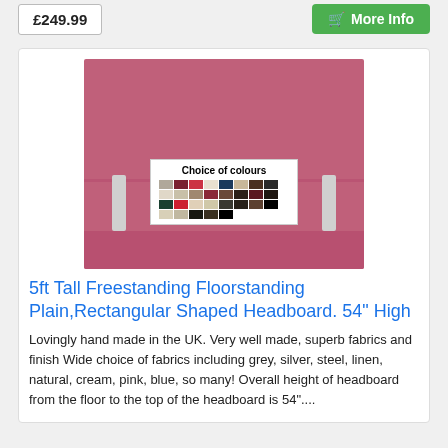£249.99
More Info
[Figure (photo): Pink/raspberry fabric freestanding floor-standing headboard with two silver legs and a colour swatch panel overlay showing 'Choice of colours']
5ft Tall Freestanding Floorstanding Plain,Rectangular Shaped Headboard. 54" High
Lovingly hand made in the UK. Very well made, superb fabrics and finish Wide choice of fabrics including grey, silver, steel, linen, natural, cream, pink, blue, so many! Overall height of headboard from the floor to the top of the headboard is 54"....